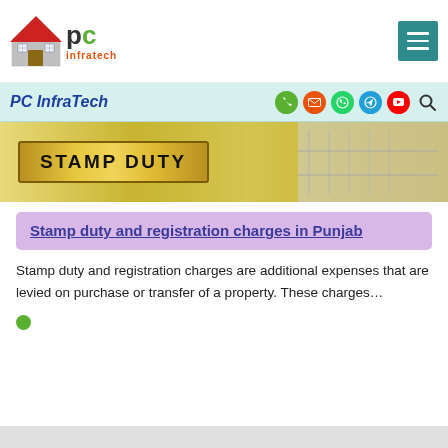PC InfraTech
[Figure (photo): Wooden sign or block with STAMP DUTY text printed in black, background shows blurred office/building shelves]
Stamp duty and registration charges in Punjab
Stamp duty and registration charges are additional expenses that are levied on purchase or transfer of a property. These charges…